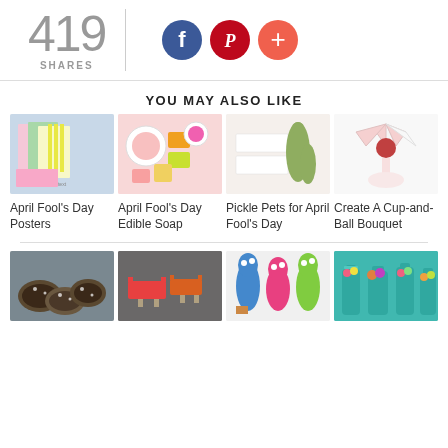419 SHARES
[Figure (infographic): Social share icons: Facebook (blue circle with f), Pinterest (red circle with P), Plus (coral circle with +)]
YOU MAY ALSO LIKE
[Figure (photo): April Fool's Day Posters — colorful paper cards with text]
April Fool's Day Posters
[Figure (photo): April Fool's Day Edible Soap — colorful soap-looking candy pieces in bowls on pink background]
April Fool's Day Edible Soap
[Figure (photo): Pickle Pets for April Fool's Day — pickle-shaped items with cards]
Pickle Pets for April Fool's Day
[Figure (photo): Create A Cup-and-Ball Bouquet — white paper flower bouquet]
Create A Cup-and-Ball Bouquet
[Figure (photo): Snowy pine cones craft]
[Figure (photo): Colorful mini hammers or tools craft on dark background]
[Figure (photo): Sock puppet animals with colorful decorations]
[Figure (photo): Teal vases or tubes filled with candy or flowers]